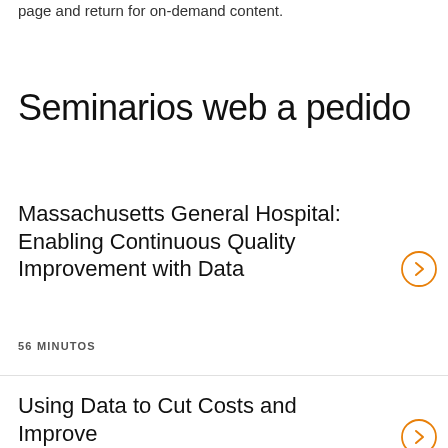page and return for on-demand content.
Seminarios web a pedido
Massachusetts General Hospital: Enabling Continuous Quality Improvement with Data
56 MINUTOS
Using Data to Cut Costs and Improve Care at Seattle Children's